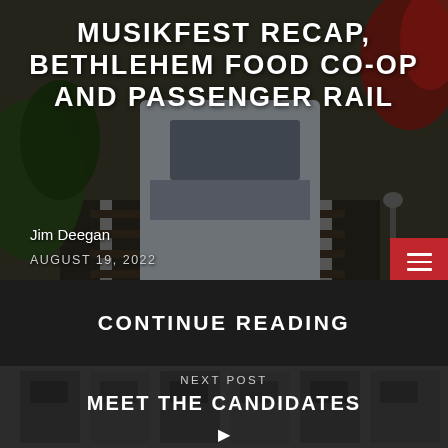[Figure (photo): Background photo of a passenger rail train at a station platform with yellow tactile strip, surrounded by greenery and red flowers]
MUSIKFEST RECAP, BETHLEHEM FOOD CO-OP AND PASSENGER RAIL
Jim Deegan
AUGUST 19, 2022
CONTINUE READING
[Figure (photo): Background photo of a modern building facade with gray panels and windows]
NEXT POST
MEET THE CANDIDATES